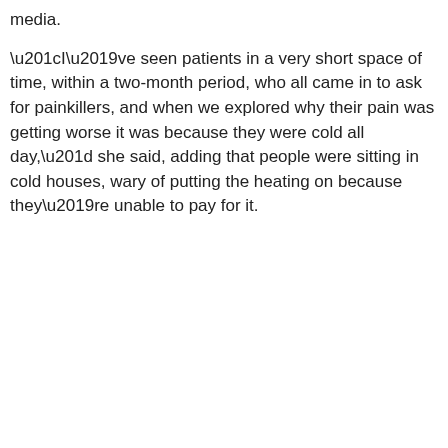media.
“I’ve seen patients in a very short space of time, within a two-month period, who all came in to ask for painkillers, and when we explored why their pain was getting worse it was because they were cold all day,” she said, adding that people were sitting in cold houses, wary of putting the heating on because they’re unable to pay for it.